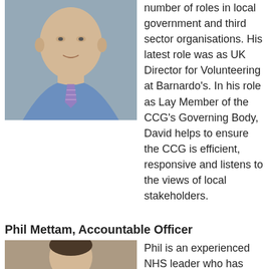[Figure (photo): Portrait photo of an older man wearing a blue shirt and striped tie]
number of roles in local government and third sector organisations. His latest role was as UK Director for Volunteering at Barnardo's. In his role as Lay Member of the CCG's Governing Body, David helps to ensure the CCG is efficient, responsive and listens to the views of local stakeholders.
Phil Mettam, Accountable Officer
[Figure (photo): Portrait photo of a younger man]
Phil is an experienced NHS leader who has worked across the East...